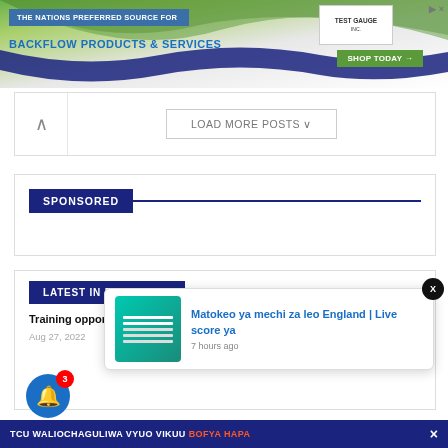[Figure (screenshot): Banner advertisement: 'THE NATIONS PREFERRED SOURCE FOR BACKFLOW PRODUCTS & SERVICES' with Test Gauge Inc logo and SHOP TODAY button]
LOAD MORE POSTS
SPONSORED
LATEST IN EDUCATION
Training opportunities Wizara ya Mifugo na Uvuvi Tanzania...
Aug 27, 2022
[Figure (screenshot): Notification popup: 'Matokeo ya mechi za leo England | Live score ya' with thumbnail and '7 hours ago' timestamp]
TCU WALIOCHAGULIWA VYUO VIKUU BOFYA HAPA